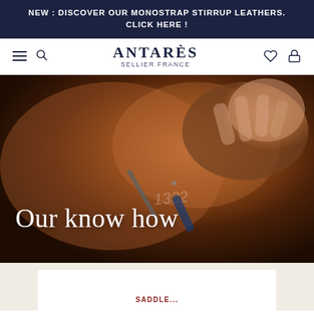NEW : DISCOVER OUR MONOSTRAP STIRRUP LEATHERS. CLICK HERE !
[Figure (logo): Antarès Sellier France brand logo with hamburger menu, search icon, heart and lock icons in navy navigation bar]
[Figure (photo): Close-up photo of leather craftwork with hands engraving or stamping a number onto a saddle, dark warm-toned background]
Our know how
SADDLE...